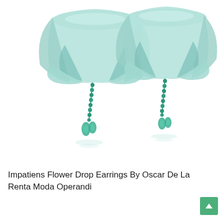[Figure (photo): Two teal/mint colored flower drop earrings (Impatiens Flower Drop Earrings by Oscar De La Renta) shown against a white background. Each earring has a large translucent light teal flower petal top, green beaded strand, and dangling teal crystal drops. Reflections visible below earrings.]
Impatiens Flower Drop Earrings By Oscar De La Renta Moda Operandi